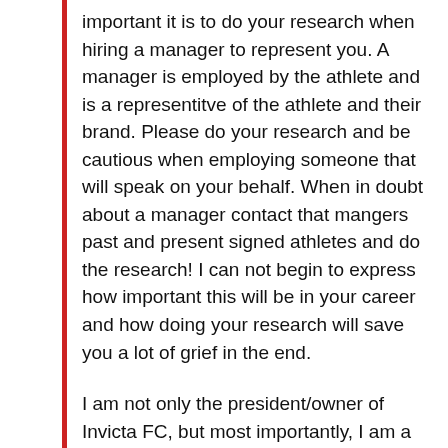important it is to do your research when hiring a manager to represent you. A manager is employed by the athlete and is a representitve of the athlete and their brand. Please do your research and be cautious when employing someone that will speak on your behalf. When in doubt about a manager contact that mangers past and present signed athletes and do the research! I can not begin to express how important this will be in your career and how doing your research will save you a lot of grief in the end.
I am not only the president/owner of Invicta FC, but most importantly, I am a HUGE advocate for the athlete and the sport. If someone is spreading false information about Invicta FC employment policies and/or aledging that they have a friendship with me that gives them an advantage, or aledging a